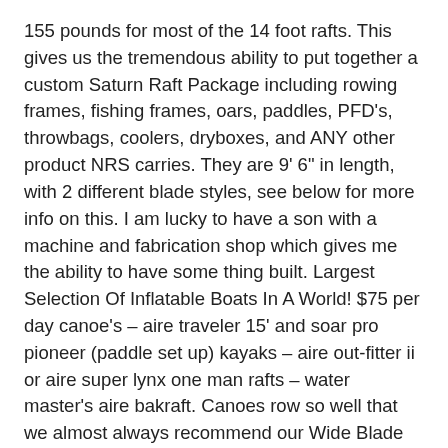155 pounds for most of the 14 foot rafts. This gives us the tremendous ability to put together a custom Saturn Raft Package including rowing frames, fishing frames, oars, paddles, PFD's, throwbags, coolers, dryboxes, and ANY other product NRS carries. They are 9' 6" in length, with 2 different blade styles, see below for more info on this. I am lucky to have a son with a machine and fabrication shop which gives me the ability to have some thing built. Largest Selection Of Inflatable Boats In A World! $75 per day canoe's – aire traveler 15' and soar pro pioneer (paddle set up) kayaks – aire out-fitter ii or aire super lynx one man rafts – water master's aire bakraft. Canoes row so well that we almost always recommend our Wide Blade spoon oars. Facebook. Happy New Year! Most canoes come with seats that can be repositioned in the boat. hypalon coating on the tubes and the top of the floor surface. NRS Raft Frames are the result of a dynamic evolution that began in 1972. Surprise for next year . River camping, cooking, safety equipment and whitewater supplies sold online and in